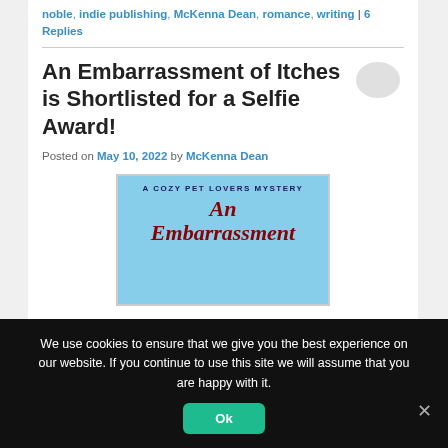noble, indie publishing, McKenna Dean, romance, writing | 6 Replies
An Embarrassment of Itches is Shortlisted for a Selfie Award!
Posted on May 10, 2022 by McKenna Dean
[Figure (illustration): Book cover for 'An Embarrassment of Itches' — A Cozy Pet Lovers Mystery, with light blue background and red script title text]
We use cookies to ensure that we give you the best experience on our website. If you continue to use this site we will assume that you are happy with it.